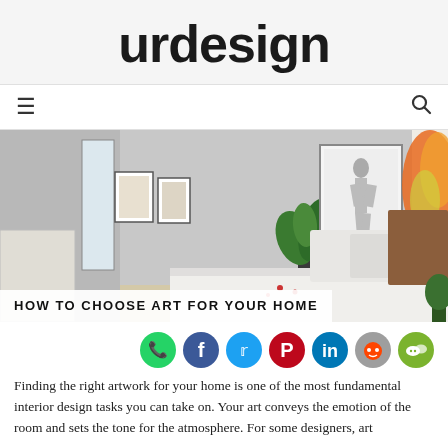urdesign
[Figure (screenshot): Navigation bar with hamburger menu icon on left and search icon on right]
[Figure (photo): Bedroom interior with white bedding, framed artwork on walls including a black and white figure drawing and a colorful orange abstract painting, green plant in corner]
HOW TO CHOOSE ART FOR YOUR HOME
[Figure (infographic): Row of social media sharing icons: WhatsApp (green), Facebook (blue), Twitter (light blue), Pinterest (red), LinkedIn (blue), Reddit (orange-grey), WeChat (green)]
Finding the right artwork for your home is one of the most fundamental interior design tasks you can take on. Your art conveys the emotion of the room and sets the tone for the atmosphere. For some designers, art